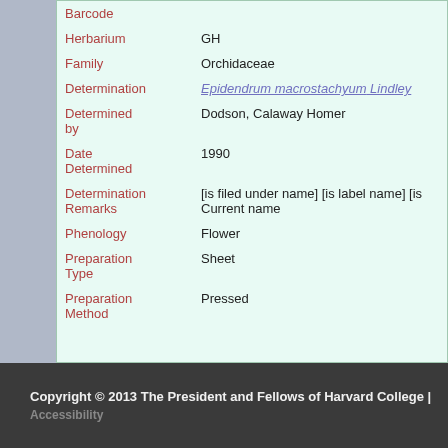| Field | Value |
| --- | --- |
| Barcode |  |
| Herbarium | GH |
| Family | Orchidaceae |
| Determination | Epidendrum macrostachyum Lindley |
| Determined by | Dodson, Calaway Homer |
| Date Determined | 1990 |
| Determination Remarks | [is filed under name] [is label name] [is Current name |
| Phenology | Flower |
| Preparation Type | Sheet |
| Preparation Method | Pressed |
Copyright © 2013 The President and Fellows of Harvard College | Accessibility